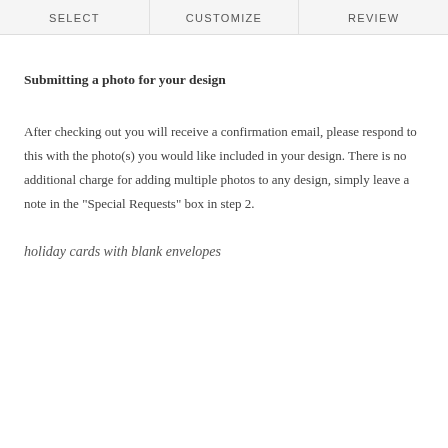SELECT | CUSTOMIZE | REVIEW
Submitting a photo for your design
After checking out you will receive a confirmation email, please respond to this with the photo(s) you would like included in your design. There is no additional charge for adding multiple photos to any design, simply leave a note in the "Special Requests" box in step 2.
holiday cards with blank envelopes